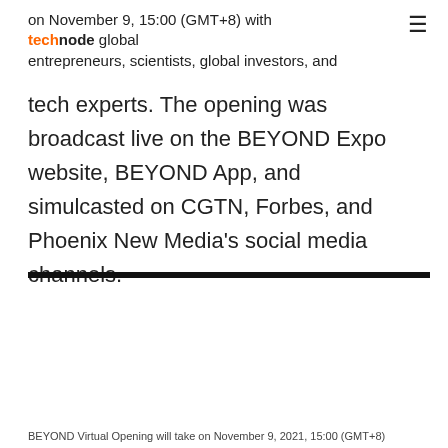on November 9, 15:00 (GMT+8) with technode global entrepreneurs, scientists, global investors, and
tech experts. The opening was broadcast live on the BEYOND Expo website, BEYOND App, and simulcasted on CGTN, Forbes, and Phoenix New Media's social media channels.
BEYOND Virtual Opening will take on November 9, 2021, 15:00 (GMT+8)